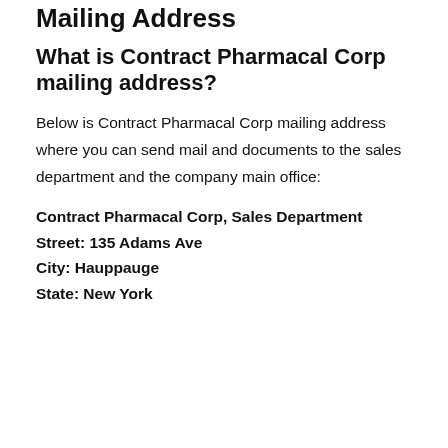Mailing Address
What is Contract Pharmacal Corp mailing address?
Below is Contract Pharmacal Corp mailing address where you can send mail and documents to the sales department and the company main office:
Contract Pharmacal Corp, Sales Department
Street: 135 Adams Ave
City: Hauppauge
State: New York